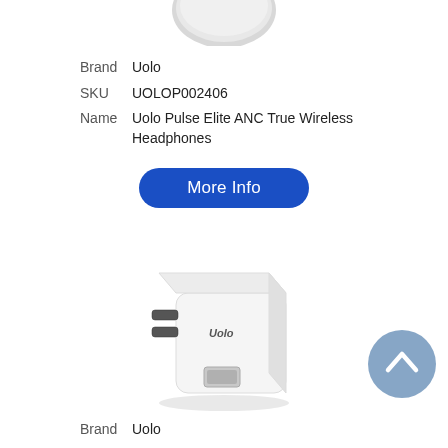[Figure (photo): Partial top view of Uolo wireless earbuds case, white, cropped at top]
Brand  Uolo
SKU  UOLOP002406
Name  Uolo Pulse Elite ANC True Wireless Headphones
[Figure (other): Blue rounded rectangle button labeled More Info]
[Figure (photo): White compact USB wall charger with Uolo logo and USB-A port, angled 3D view]
[Figure (other): Blue-grey circular scroll-to-top button with upward chevron icon]
Brand  Uolo